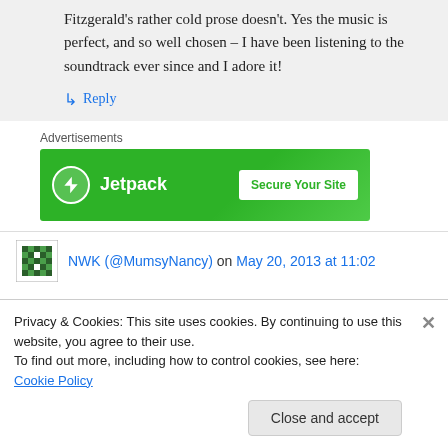Fitzgerald's rather cold prose doesn't. Yes the music is perfect, and so well chosen – I have been listening to the soundtrack ever since and I adore it!
↳ Reply
Advertisements
[Figure (logo): Jetpack advertisement banner with green background, Jetpack logo and 'Secure Your Site' button]
NWK (@MumsyNancy) on May 20, 2013 at 11:02
Privacy & Cookies: This site uses cookies. By continuing to use this website, you agree to their use.
To find out more, including how to control cookies, see here: Cookie Policy
Close and accept